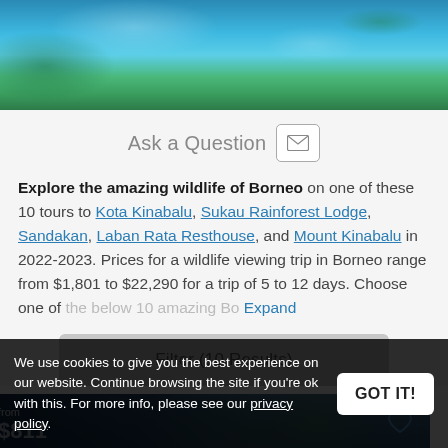[Figure (photo): Aerial photo of tropical coastline and reef, Borneo]
Ask a Question
Explore the amazing wildlife of Borneo on one of these 10 tours to Kota Kinabalu, Sukau Rainforest Lodge, Sandakan, Laban Rata Resthouse, and Mount Kinabalu in 2022-2023. Prices for a wildlife viewing trip in Borneo range from $1,801 to $22,290 for a trip of 5 to 12 days. Choose one of the below 10 amazing Borneo wildlife safari tours and... Expand
Filter (10 Results)
[Figure (photo): Tour card with river scene, showing price from $811]
We use cookies to give you the best experience on our website. Continue browsing the site if you're ok with this. For more info, please see our privacy policy.